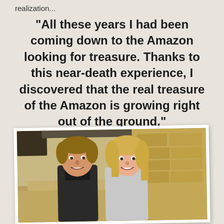realization...
“All these years I had been coming down to the Amazon looking for treasure. Thanks to this near-death experience, I discovered that the real treasure of the Amazon is growing right out of the ground.”
[Figure (photo): A smiling couple posing together outdoors. A man with medium-length hair on the left and a woman with blonde hair on the right. Stone or adobe wall visible in background.]